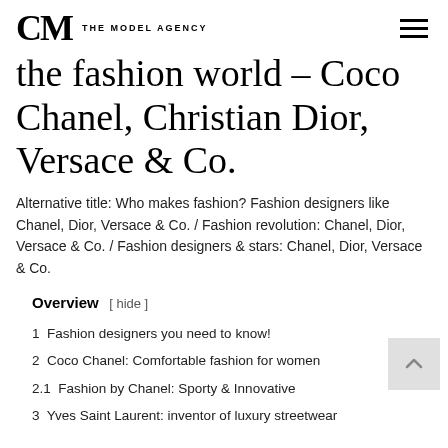CM THE MODEL AGENCY
the fashion world – Coco Chanel, Christian Dior, Versace & Co.
Alternative title: Who makes fashion? Fashion designers like Chanel, Dior, Versace & Co. / Fashion revolution: Chanel, Dior, Versace & Co. / Fashion designers & stars: Chanel, Dior, Versace & Co.
Overview [ hide ]
1  Fashion designers you need to know!
2  Coco Chanel: Comfortable fashion for women
2.1  Fashion by Chanel: Sporty & Innovative
3  Yves Saint Laurent: inventor of luxury streetwear